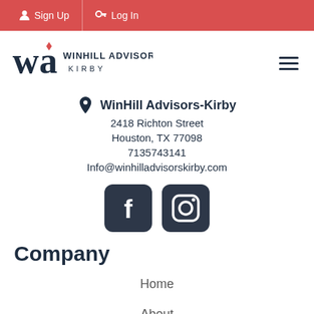Sign Up  Log In
[Figure (logo): WinHill Advisors Kirby logo with WA monogram and red diamond]
WinHill Advisors-Kirby
2418 Richton Street
Houston, TX 77098
7135743141
Info@winhilladvisorskirby.com
[Figure (illustration): Facebook and Instagram social media icons (dark rounded square buttons)]
Company
Home
About